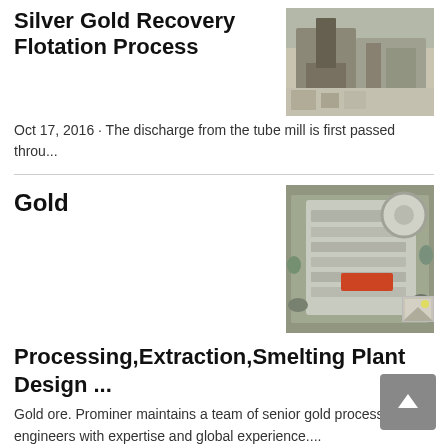Silver Gold Recovery Flotation Process
Oct 17, 2016 · The discharge from the tube mill is first passed throu...
[Figure (photo): Aerial/ground view of a mining crusher or processing plant equipment with rocks and machinery]
Gold
[Figure (photo): Industrial jaw crusher machine, grey metal with a red label, surrounded by rocks]
Processing,Extraction,Smelting Plant Design ...
[Figure (photo): Small thumbnail image placeholder]
Gold ore. Prominer maintains a team of senior gold processing engineers with expertise and global experience....